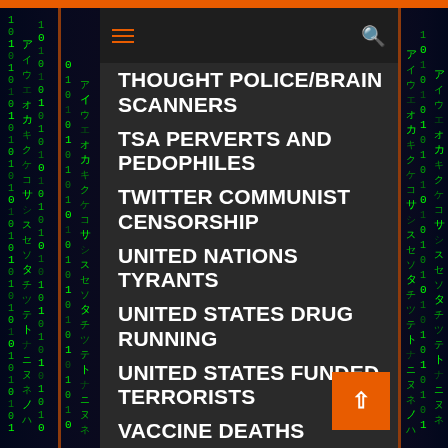Navigation bar with hamburger menu and search icon
THOUGHT POLICE/BRAIN SCANNERS
TSA PERVERTS AND PEDOPHILES
TWITTER COMMUNIST CENSORSHIP
UNITED NATIONS TYRANTS
UNITED STATES DRUG RUNNING
UNITED STATES FUNDED TERRORISTS
VACCINE DEATHS DANGERS AND SIDE EFFECTS
WAR CRIMINALS
WHAT IN THE HELL IS THAT
WHITE GUILT AGENDA
WIKILEAKS/Julian Assange
WORLD RELIGION/WORSHIP OF AI COMPUTERS
YOUTUBE COMMUNIST CENSORSHIP